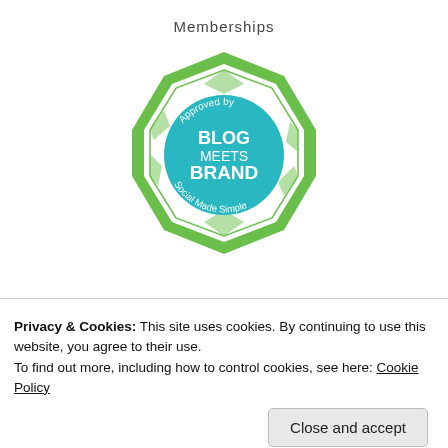Memberships
[Figure (logo): Blog Meets Brand badge: green octagon shape with teal circular center reading 'Approved by BLOG MEETS BRAND Social Made Simple']
[Figure (illustration): Large blue watercolor-style 'WORLD' text with a paint box image to the right and partial cursive text below]
Privacy & Cookies: This site uses cookies. By continuing to use this website, you agree to their use.
To find out more, including how to control cookies, see here: Cookie Policy
Close and accept